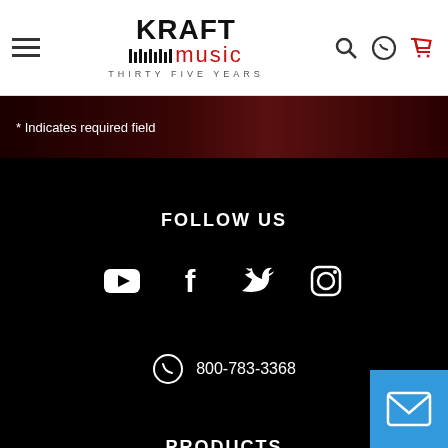Kraft Music – Thirty Five Years
* Indicates required field
FOLLOW US
[Figure (infographic): Four social media icons: YouTube, Facebook, Twitter, Instagram]
800-783-3368
PRODUCTS
ABOUT
[Figure (infographic): Blue email/envelope button in bottom right corner]